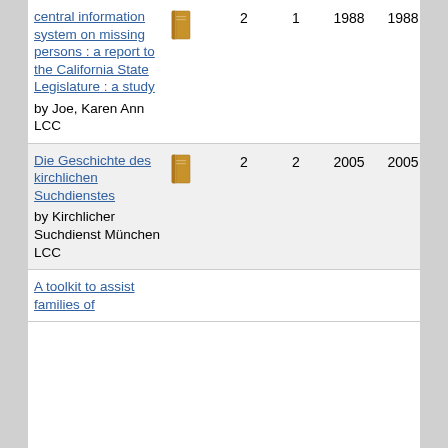| Title | Icon | Copies | Items | Year1 | Year2 |
| --- | --- | --- | --- | --- | --- |
| central information system on missing persons : a report to the California State Legislature : a study
by Joe, Karen Ann
LCC | [book icon] | 2 | 1 | 1988 | 1988 |
| Die Geschichte des kirchlichen Suchdienstes
by Kirchlicher Suchdienst München
LCC | [book icon] | 2 | 2 | 2005 | 2005 |
| A toolkit to assist families of ... |  |  |  |  |  |